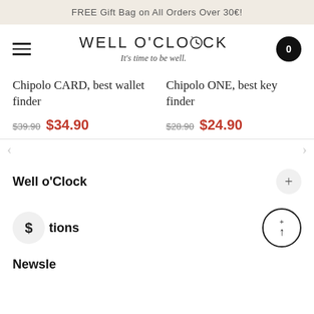FREE Gift Bag on All Orders Over 30€!
[Figure (logo): Well O'Clock logo with tagline 'It's time to be well.']
Chipolo CARD, best wallet finder
$39.90 $34.90
Chipolo ONE, best key finder
$28.90 $24.90
Well o'Clock
Collections
Newsletter